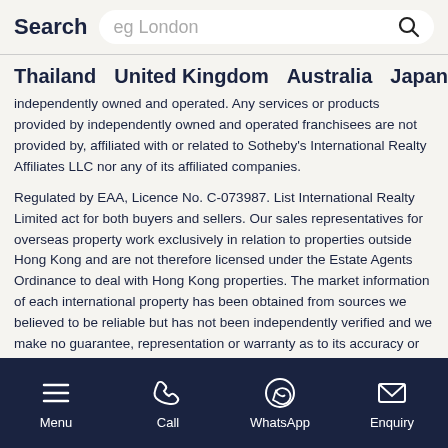Search  eg London
Thailand  United Kingdom  Australia  Japan  United
independently owned and operated. Any services or products provided by independently owned and operated franchisees are not provided by, affiliated with or related to Sotheby's International Realty Affiliates LLC nor any of its affiliated companies.
Regulated by EAA, Licence No. C-073987. List International Realty Limited act for both buyers and sellers. Our sales representatives for overseas property work exclusively in relation to properties outside Hong Kong and are not therefore licensed under the Estate Agents Ordinance to deal with Hong Kong properties. The market information of each international property has been obtained from sources we believed to be reliable but has not been independently verified and we make no guarantee, representation or warranty as to its accuracy or completeness or correctness. Any interested party should undertake their own inquiries as to the accuracy of the information. No person in the employment of List International Realty Limited has any authority to make or give any representation or warranty whatever in relation to this property. List International Realty Limited for themselves and for the vendors
Menu  Call  WhatsApp  Enquiry